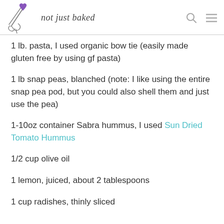not just baked
1 lb. pasta, I used organic bow tie (easily made gluten free by using gf pasta)
1 lb snap peas, blanched (note: I like using the entire snap pea pod, but you could also shell them and just use the pea)
1-10oz container Sabra hummus, I used Sun Dried Tomato Hummus
1/2 cup olive oil
1 lemon, juiced, about 2 tablespoons
1 cup radishes, thinly sliced